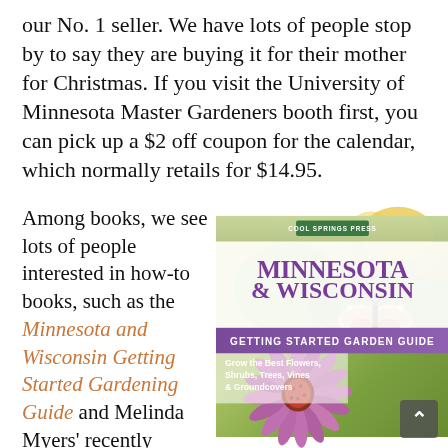our No. 1 seller. We have lots of people stop by to say they are buying it for their mother for Christmas. If you visit the University of Minnesota Master Gardeners booth first, you can pick up a $2 off coupon for the calendar, which normally retails for $14.95.
Among books, we see lots of people interested in how-to books, such as the Minnesota and Wisconsin Getting Started Gardening Guide and Melinda Myers' recently revised Month
[Figure (photo): Book cover of Minnesota & Wisconsin Getting Started Garden Guide published by Cool Springs Press. Cover shows a purple coneflower with a butterfly, and text: Grow the Best Flowers, Shrubs, Trees, Vines & Groundcovers.]